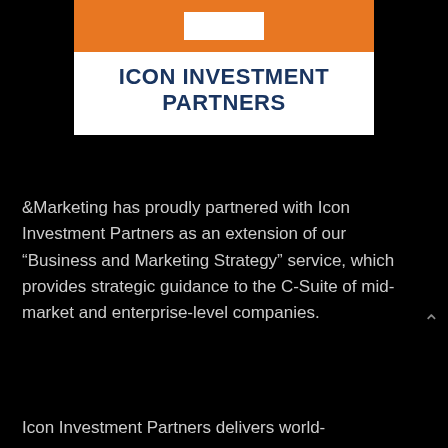[Figure (logo): Icon Investment Partners logo: orange bar with white rectangle on top, dark navy bold text reading ICON INVESTMENT PARTNERS below on white background]
&Marketing has proudly partnered with Icon Investment Partners as an extension of our “Business and Marketing Strategy” service, which provides strategic guidance to the C-Suite of mid-market and enterprise-level companies.
Icon Investment Partners delivers world-